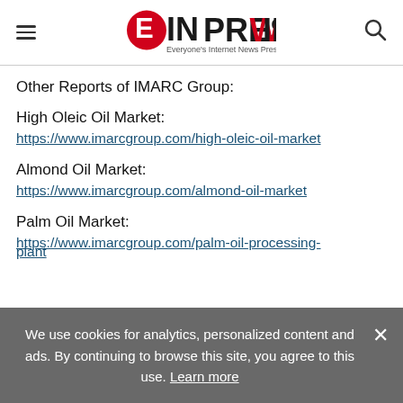EIN PRESSWIRE — Everyone's Internet News Presswire
Other Reports of IMARC Group:
High Oleic Oil Market:
https://www.imarcgroup.com/high-oleic-oil-market
Almond Oil Market:
https://www.imarcgroup.com/almond-oil-market
Palm Oil Market:
https://www.imarcgroup.com/palm-oil-processing-plant
We use cookies for analytics, personalized content and ads. By continuing to browse this site, you agree to this use. Learn more